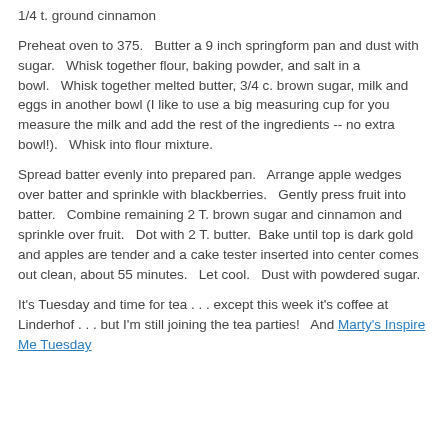1/4 t. ground cinnamon
Preheat oven to 375.   Butter a 9 inch springform pan and dust with sugar.   Whisk together flour, baking powder, and salt in a bowl.   Whisk together melted butter, 3/4 c. brown sugar, milk and eggs in another bowl (I like to use a big measuring cup for you measure the milk and add the rest of the ingredients -- no extra bowl!).   Whisk into flour mixture.
Spread batter evenly into prepared pan.   Arrange apple wedges over batter and sprinkle with blackberries.   Gently press fruit into batter.   Combine remaining 2 T. brown sugar and cinnamon and sprinkle over fruit.   Dot with 2 T. butter.  Bake until top is dark gold and apples are tender and a cake tester inserted into center comes out clean, about 55 minutes.   Let cool.   Dust with powdered sugar.
It's Tuesday and time for tea . . . except this week it's coffee at Linderhof . . . but I'm still joining the tea parties!   And Marty's Inspire Me Tuesday